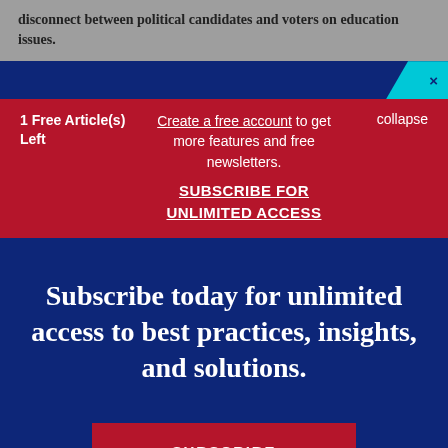disconnect between political candidates and voters on education issues.
×
1 Free Article(s) Left
Create a free account to get more features and free newsletters. SUBSCRIBE FOR UNLIMITED ACCESS
collapse
Subscribe today for unlimited access to best practices, insights, and solutions.
SUBSCRIBE